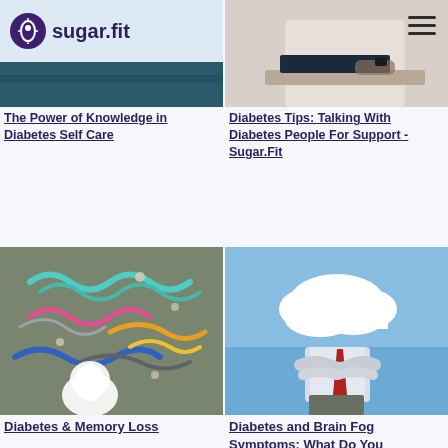sugar.fit
[Figure (photo): sugar.fit logo with teal/white header background, partially visible dark teal image below]
[Figure (photo): Person sitting at laptop, mostly white shirt visible, close-up]
The Power of Knowledge in Diabetes Self Care
Diabetes Tips: Talking With Diabetes People For Support - Sugar.Fit
[Figure (photo): Colorful wavy yarn/pipe cleaner shapes representing brain neurons on grey background with white head silhouette]
[Figure (photo): Man in white shirt and red tie with arms crossed, cloud instead of head, blue sky background]
Diabetes & Memory Loss
Diabetes and Brain Fog Symptoms: What Do You